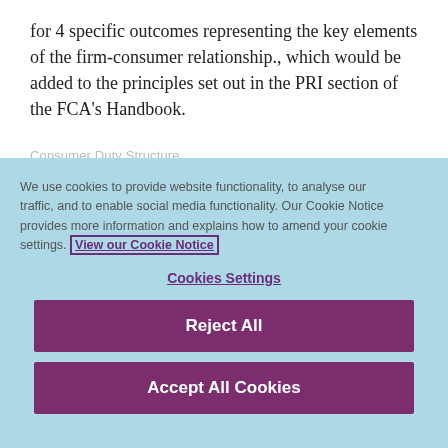for 4 specific outcomes representing the key elements of the firm-consumer relationship., which would be added to the principles set out in the PRI section of the FCA's Handbook.
We use cookies to provide website functionality, to analyse our traffic, and to enable social media functionality. Our Cookie Notice provides more information and explains how to amend your cookie settings. View our Cookie Notice
Cookies Settings
Reject All
Accept All Cookies